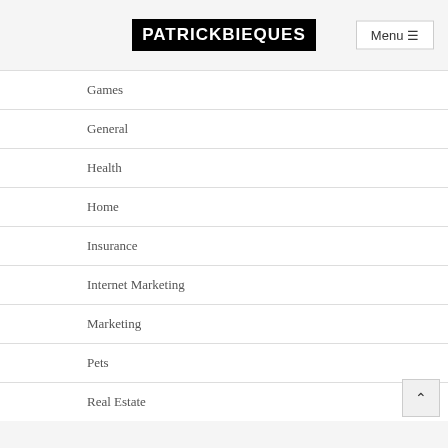PATRICKBIEQUES
Games
General
Health
Home
Insurance
Internet Marketing
Marketing
Pets
Real Estate